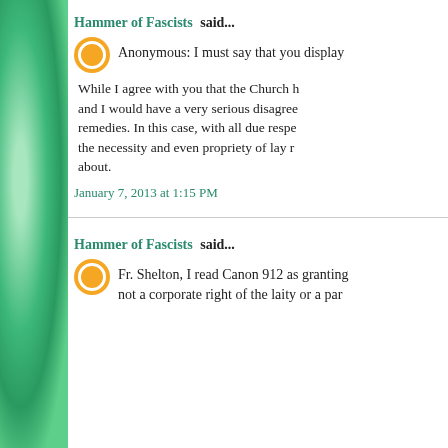Hammer of Fascists said...
Anonymous: I must say that you display
While I agree with you that the Church h... and I would have a very serious disagree... remedies. In this case, with all due respe... the necessity and even propriety of lay r... about.
January 7, 2013 at 1:15 PM
Hammer of Fascists said...
Fr. Shelton, I read Canon 912 as granting not a corporate right of the laity or a par